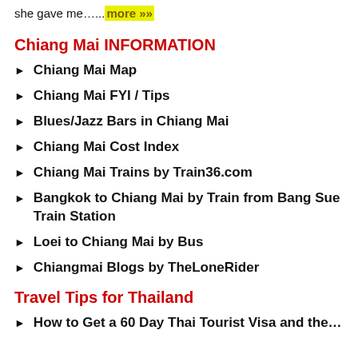she gave me.….more »»
Chiang Mai INFORMATION
Chiang Mai Map
Chiang Mai FYI / Tips
Blues/Jazz Bars in Chiang Mai
Chiang Mai Cost Index
Chiang Mai Trains by Train36.com
Bangkok to Chiang Mai by Train from Bang Sue Train Station
Loei to Chiang Mai by Bus
Chiangmai Blogs by TheLoneRider
Travel Tips for Thailand
How to Get a 60 Day Thai Tourist Visa and the…